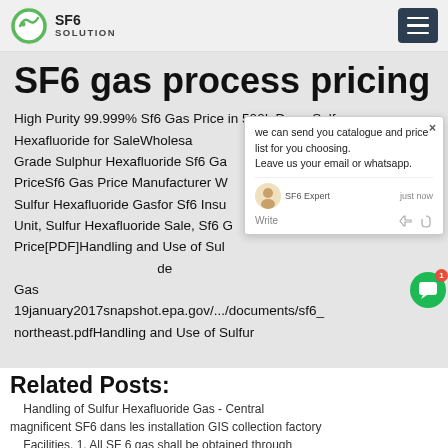SF6 SOLUTION
SF6 gas process pricing
High Purity 99.999% Sf6 Gas Price in 500L Drum Sulfur Hexafluoride for SaleWholesale Grade Sulphur Hexafluoride Sf6 Gas PriceSf6 Gas Price Manufacturer Wholesale Sulfur Hexafluoride Gasfor Sf6 Insulated Unit, Sulfur Hexafluoride Sale, Sf6 Gas Price[PDF]Handling and Use of Sulfur Hexafluoride Gas 19january2017snapshot.epa.gov/.../documents/sf6_northeast.pdfHandling and Use of Sulfur Hexafluoride Page 4 of 8 V. PROCEDURE A.
[Figure (other): Chat popup overlay: 'we can send you catalogue and price list for you choosing. Leave us your email or whatsapp.' with SF6 Expert avatar and write input area]
Related Posts:
Handling of Sulfur Hexafluoride Gas - Central Facilities. 1. All SF 6 gas shall be obtained through a central facility. 2. The designated central facility is
magnificent SF6 dans les installation GIS collection factory certified SF6 quality analysis plants